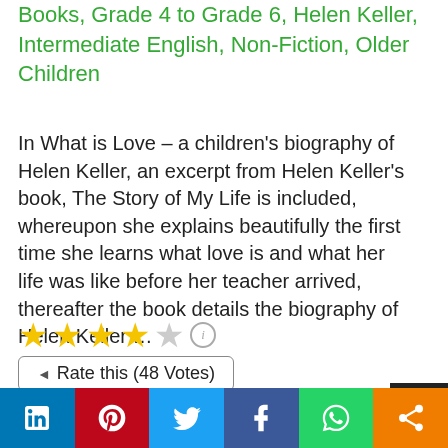Books, Grade 4 to Grade 6, Helen Keller, Intermediate English, Non-Fiction, Older Children
In What is Love – a children's biography of Helen Keller, an excerpt from Helen Keller's book, The Story of My Life is included, whereupon she explains beautifully the first time she learns what love is and what her life was like before her teacher arrived, thereafter the book details the biography of Helen Keller …
[Figure (infographic): 4 filled gold stars and 1 empty grey star rating, with an info icon]
Rate this (48 Votes)
Reviews (1)
[Figure (infographic): Social sharing bar with LinkedIn, Pinterest, Twitter, Facebook, WhatsApp, and share buttons]